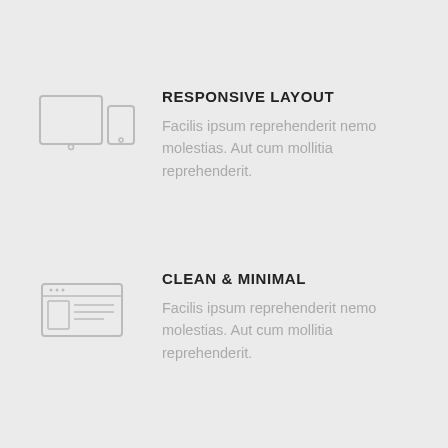[Figure (illustration): Icon showing a tablet and a phone outline representing responsive layout]
RESPONSIVE LAYOUT
Facilis ipsum reprehenderit nemo molestias. Aut cum mollitia reprehenderit.
[Figure (illustration): Icon showing a browser window with a layout grid representing clean and minimal design]
CLEAN & MINIMAL
Facilis ipsum reprehenderit nemo molestias. Aut cum mollitia reprehenderit.